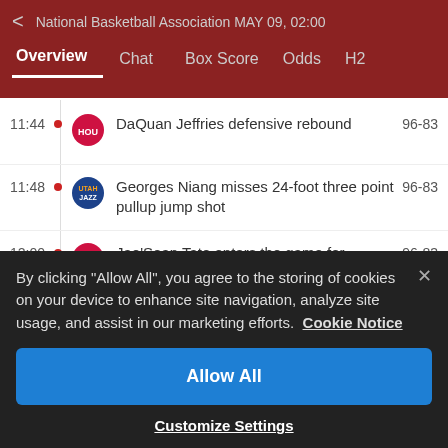National Basketball Association MAY 09, 02:00
Overview  Chat  Box Score  Odds  H2
11:44  DaQuan Jeffries defensive rebound  96-83
11:48  Georges Niang misses 24-foot three point pullup jump shot  96-83
12:00  Jae'Sean Tate enters the game for Kenyon Martin Jr.  96-83
Matt Thomas enters the game for Jordan
By clicking "Allow All", you agree to the storing of cookies on your device to enhance site navigation, analyze site usage, and assist in our marketing efforts.  Cookie Notice
Allow All
Customize Settings